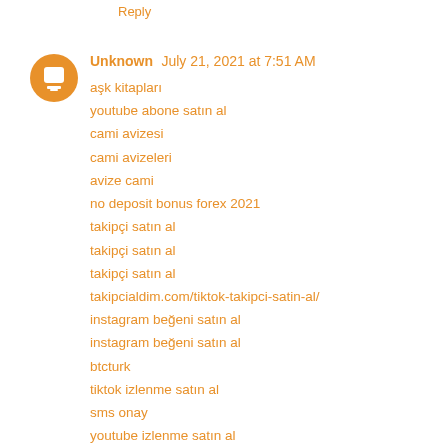Reply
Unknown July 21, 2021 at 7:51 AM
aşk kitapları
youtube abone satın al
cami avizesi
cami avizeleri
avize cami
no deposit bonus forex 2021
takipçi satın al
takipçi satın al
takipçi satın al
takipcialdim.com/tiktok-takipci-satin-al/
instagram beğeni satın al
instagram beğeni satın al
btcturk
tiktok izlenme satın al
sms onay
youtube izlenme satın al
no deposit bonus forex 2021
tiktok jeton hilesi